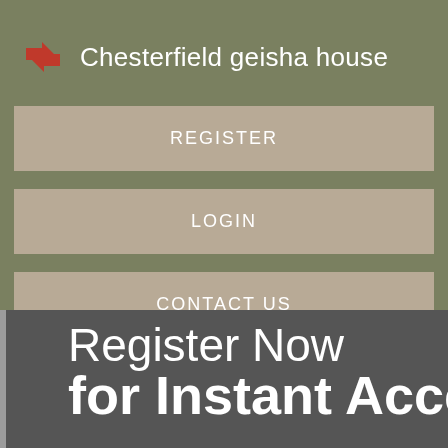Chesterfield geisha house
REGISTER
LOGIN
CONTACT US
[Figure (screenshot): Partial view of a website banner showing 'Register NOW for Instant Acce...' text on a dark gray background]
Register NOW for Instant Acce